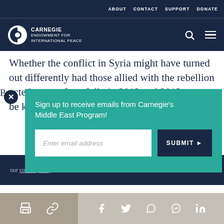ABOUT  CONTACT  SUPPORT  DONATE
[Figure (logo): Carnegie Endowment for International Peace logo with white circular icon and text]
Whether the conflict in Syria might have turned out differently had those allied with the rebellion acted more forcefully in 2012 and 2013 cannot be known.
[Figure (screenshot): Email signup overlay for Carnegie's Middle East Program with teal background, email input field, and dark blue SUBMIT button]
our cookie policy.
Social sharing icons: print, copy link, Facebook, Twitter, WhatsApp, Messenger, LinkedIn